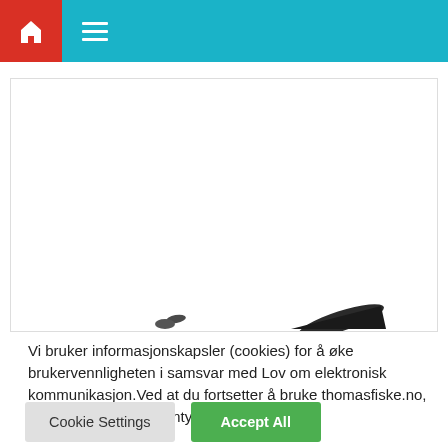[Figure (screenshot): Website navigation bar with red home icon button and hamburger menu on teal/cyan background]
[Figure (photo): Mostly white image area with partial dark smudge shapes visible at the bottom, likely a partial fish or object photo]
Vi bruker informasjonskapsler (cookies) for å øke brukervennligheten i samsvar med Lov om elektronisk kommunikasjon.Ved at du fortsetter å bruke thomasfiske.no, forutsetter vi at du samtykker til dette...
Cookie Settings
Accept All